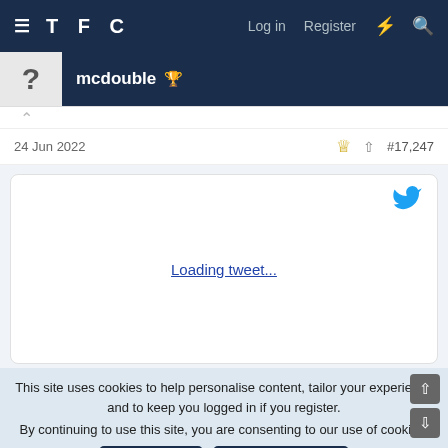TFC  Log in  Register
mcdouble 🏆
24 Jun 2022  #17,247
[Figure (screenshot): Embedded tweet loading placeholder with Twitter bird icon and 'Loading tweet...' link text]
This site uses cookies to help personalise content, tailor your experience and to keep you logged in if you register.
By continuing to use this site, you are consenting to our use of cookies.
✓ ACCEPT   LEARN MORE...